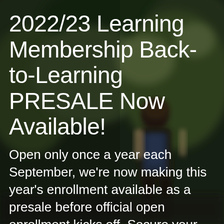[Figure (photo): A blurred outdoor background photo showing a young person (seen from behind) wearing a backpack and walking among greenery/trees, suggesting a student heading to school.]
2022/23 Learning Membership Back-to-Learning PRESALE Now Available!
Open only once a year each September, we're now making this year's enrollment available as a presale before official open enrollment kicks off. Secure your spot today. Don't pay until Sept. 25 & begin